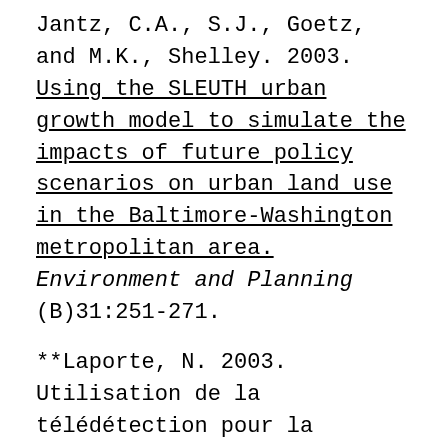Jantz, C.A., S.J., Goetz, and M.K., Shelley. 2003. Using the SLEUTH urban growth model to simulate the impacts of future policy scenarios on urban land use in the Baltimore-Washington metropolitan area. Environment and Planning (B)31:251-271.
**Laporte, N. 2003. Utilisation de la télédétection pour la gestion des écosystèmes forestiers du Nord Congo: Cas des UFA Kabo, Pokola et Loundoungou. Rapport Technique au Wildlife Conservation Society, New York.
Laporte N.T., and T.S. Lin. 2003. Monitoring logging in the tropical forest of Republic